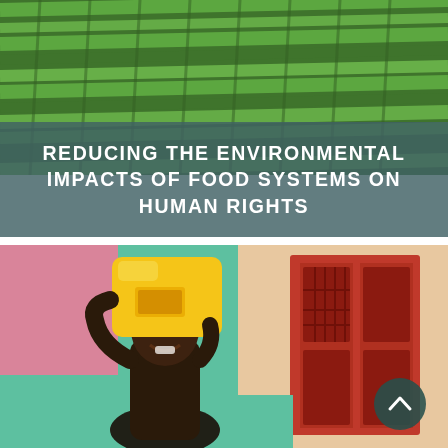[Figure (photo): Aerial view of green agricultural terraced crops / vertical farm rows]
REDUCING THE ENVIRONMENTAL IMPACTS OF FOOD SYSTEMS ON HUMAN RIGHTS
[Figure (photo): Young girl smiling and carrying a large yellow water container on her head, standing in front of a colorful building with red doors]